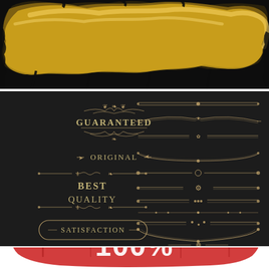[Figure (illustration): Black background panel with gold metallic paint splash/grunge texture across the upper portion]
[Figure (illustration): Dark chalkboard-style panel with vintage ornamental labels: GUARANTEED (with scrollwork), ORIGINAL (with arrows), BEST QUALITY (with decorative borders), SATISFACTION (in rounded rectangle). Right half shows multiple decorative divider lines in cream/gold color.]
[Figure (illustration): White background with large red distressed/grunge stamp showing '100%' text, partially visible at bottom of page]